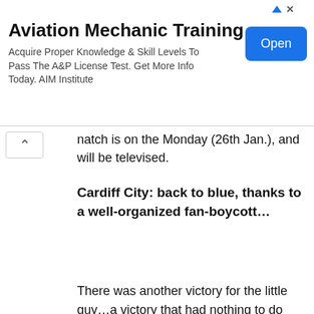[Figure (other): Advertisement banner for Aviation Mechanic Training with Open button]
natch is on the Monday (26th Jan.), and will be televised.
Cardiff City: back to blue, thanks to a well-organized fan-boycott…
There was another victory for the little guy…a victory that had nothing to do with what happened on the pitch, but, rather, what didn't